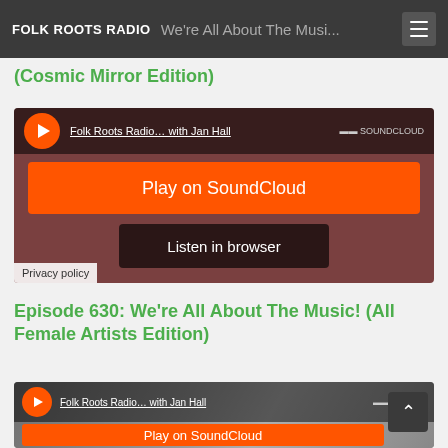FOLK ROOTS RADIO
We're All About The Music! (Cosmic Mirror Edition)
[Figure (screenshot): SoundCloud embedded player with brown/dark background, showing 'Folk Roots Radio... with Jan Hall' track link, SoundCloud branding, orange 'Play on SoundCloud' button, dark 'Listen in browser' button, and Privacy policy label]
Episode 630: We're All About The Music! (All Female Artists Edition)
[Figure (screenshot): Second SoundCloud embedded player with photo background showing people, 'Folk Roots Radio... with Jan Hall' track link, SoundCloud branding, orange 'Play on SoundCloud' button, and back-to-top arrow button]